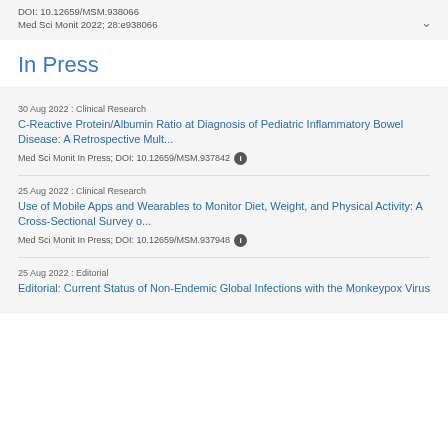DOI: 10.12659/MSM.938066
Med Sci Monit 2022; 28:e938066
In Press
30 Aug 2022 : Clinical Research
C-Reactive Protein/Albumin Ratio at Diagnosis of Pediatric Inflammatory Bowel Disease: A Retrospective Mult...
Med Sci Monit In Press; DOI: 10.12659/MSM.937842
25 Aug 2022 : Clinical Research
Use of Mobile Apps and Wearables to Monitor Diet, Weight, and Physical Activity: A Cross-Sectional Survey o...
Med Sci Monit In Press; DOI: 10.12659/MSM.937948
25 Aug 2022 : Editorial
Editorial: Current Status of Non-Endemic Global Infections with the Monkeypox Virus